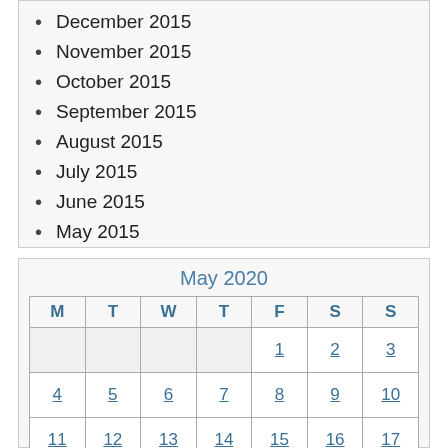December 2015
November 2015
October 2015
September 2015
August 2015
July 2015
June 2015
May 2015
| M | T | W | T | F | S | S |
| --- | --- | --- | --- | --- | --- | --- |
|  |  |  |  | 1 | 2 | 3 |
| 4 | 5 | 6 | 7 | 8 | 9 | 10 |
| 11 | 12 | 13 | 14 | 15 | 16 | 17 |
| 18 | 19 | 20 | 21 | 22 | 23 | 24 |